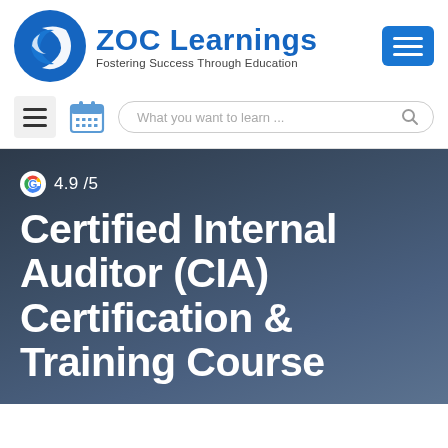[Figure (logo): ZOC Learnings logo: blue circle with swoosh/arrow graphic, company name in bold blue, tagline 'Fostering Success Through Education']
[Figure (screenshot): Navigation bar with hamburger menu icon, calendar icon, and search bar with placeholder 'What you want to learn...']
4.9 /5
Certified Internal Auditor (CIA) Certification & Training Course